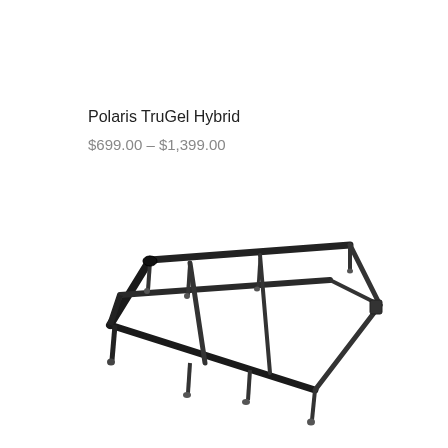Polaris TruGel Hybrid
$699.00 – $1,399.00
[Figure (photo): Metal bed frame with multiple support legs and cross bars, viewed from an angle, showing a sturdy steel bed frame structure in dark grey/black finish]